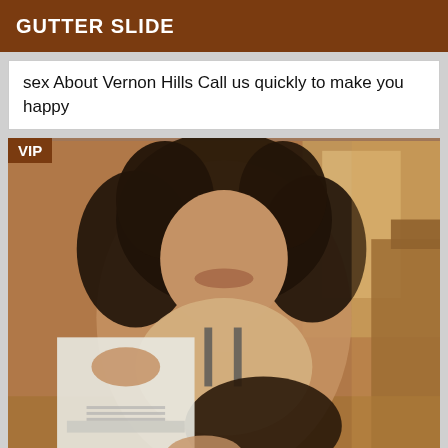GUTTER SLIDE
sex About Vernon Hills Call us quickly to make you happy
[Figure (photo): A young woman with curly hair wearing a tank top and short skirt, seated indoors with a VIP badge in the top-left corner of the image.]